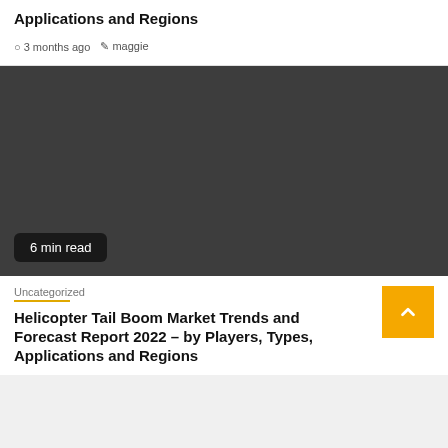Applications and Regions
3 months ago  maggie
[Figure (photo): Dark gray rectangular image placeholder for article thumbnail]
6 min read
Uncategorized
Helicopter Tail Boom Market Trends and Forecast Report 2022 – by Players, Types, Applications and Regions